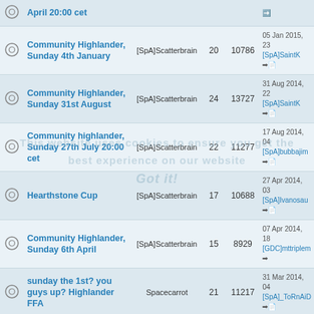|  | Topic | Author | Replies | Views | Last Post |
| --- | --- | --- | --- | --- | --- |
|  | April 20:00 cet |  |  |  | ➡️ |
|  | Community Highlander, Sunday 4th January | [SpA]Scatterbrain | 20 | 10786 | 05 Jan 2015, 23 [SpA]SaintK ➡️ |
|  | Community Highlander, Sunday 31st August | [SpA]Scatterbrain | 24 | 13727 | 31 Aug 2014, 22 [SpA]SaintK ➡️ |
|  | Community highlander, Sunday 27th July 20:00 cet | [SpA]Scatterbrain | 22 | 11277 | 17 Aug 2014, 04 [SpA]bubbajim ➡️ |
|  | Hearthstone Cup | [SpA]Scatterbrain | 17 | 10688 | 27 Apr 2014, 03 [SpA]Ivanosau ➡️ |
|  | Community Highlander, Sunday 6th April | [SpA]Scatterbrain | 15 | 8929 | 07 Apr 2014, 18 [GDC]mttriplem ➡️ |
|  | sunday the 1st? you guys up? Highlander FFA | Spacecarrot | 21 | 11217 | 31 Mar 2014, 04 [SpA]_ToRnAiD ➡️ |
|  | Any L4D2/Killing Floor possibly this weekend/friday? | [SpA]iHasFire | 10 | 7268 | 19 Feb 2014, 22 [SpA]Dolf ➡️ |